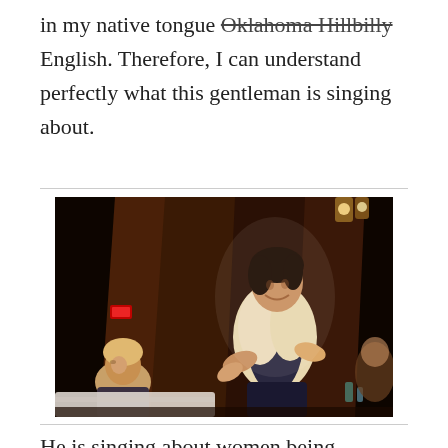in my native tongue Oklahoma Hillbilly English. Therefore, I can understand perfectly what this gentleman is singing about.
[Figure (photo): A man in period costume (white shirt, dark vest) performing or singing on a stage, gesturing with his hands. An audience member is visible in the lower left background. The setting appears to be a dinner theater with dim lighting and wooden stage elements.]
He is singing about women being